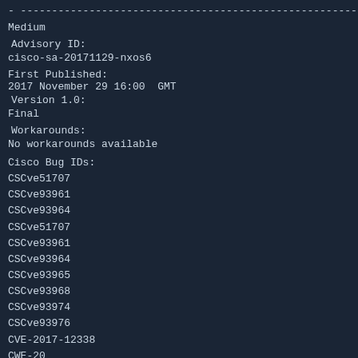- ----------------------------------------------------------
Medium
Advisory ID:
cisco-sa-20171129-nxos6
First Published:
2017 November 29 16:00  GMT
Version 1.0:
Final
Workarounds:
No workarounds available
Cisco Bug IDs:
CSCve51707
CSCve93961
CSCve93964
CSCve51707
CSCve93961
CSCve93964
CSCve93965
CSCve93968
CSCve93974
CSCve93976
CVE-2017-12338
CWE-20